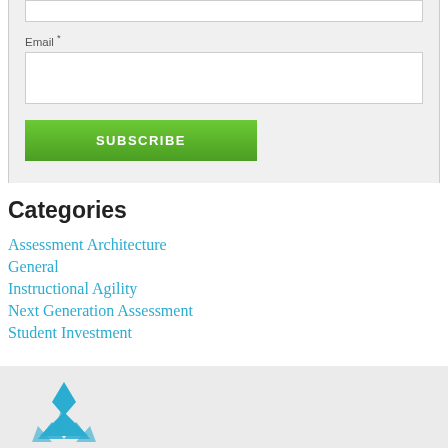Email *
Categories
Assessment Architecture
General
Instructional Agility
Next Generation Assessment
Student Investment
[Figure (logo): Blue pyramid/diamond logo mark at bottom of page]